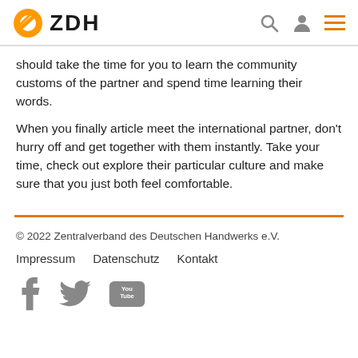ZDH
should take the time for you to learn the community customs of the partner and spend time learning their words.
When you finally article meet the international partner, don't hurry off and get together with them instantly. Take your time, check out explore their particular culture and make sure that you just both feel comfortable.
© 2022 Zentralverband des Deutschen Handwerks e.V.
Impressum  Datenschutz  Kontakt